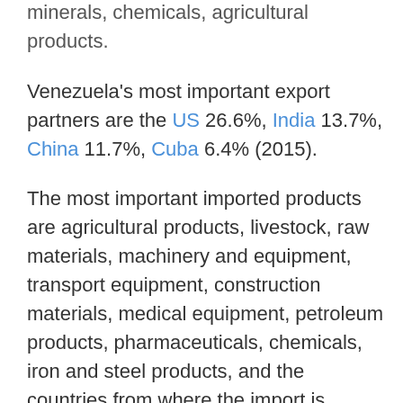minerals, chemicals, agricultural products.
Venezuela's most important export partners are the US 26.6%, India 13.7%, China 11.7%, Cuba 6.4% (2015).
The most important imported products are agricultural products, livestock, raw materials, machinery and equipment, transport equipment, construction materials, medical equipment, petroleum products, pharmaceuticals, chemicals, iron and steel products, and the countries from where the import is coming: US 18.4%, China 15.3%, Brazil 9.7%, Colombia 5.9%, Mexico 4.2% (2015).